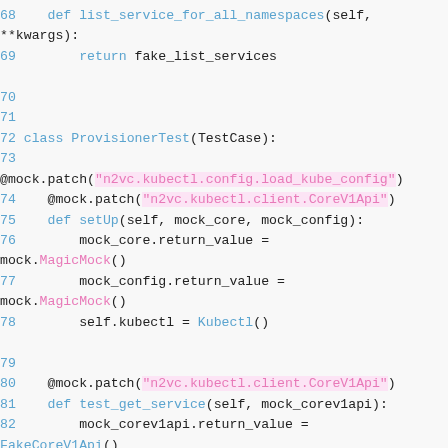[Figure (screenshot): Python source code screenshot showing lines 68-86 of a test file with syntax highlighting. Line numbers in blue, keywords in blue, string literals in pink/magenta with pink background highlights, and method names in blue.]